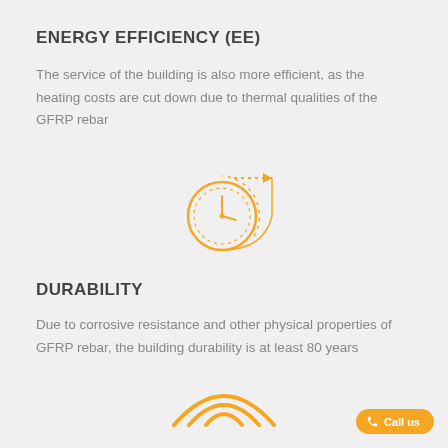ENERGY EFFICIENCY (EE)
The service of the building is also more efficient, as the heating costs are cut down due to thermal qualities of the GFRP rebar
[Figure (illustration): Orange icon of a clock with a circular arrow looping around it and a straight arrow pointing right, representing energy efficiency or time saving]
DURABILITY
Due to corrosive resistance and other physical properties of GFRP rebar, the building durability is at least 80 years
[Figure (illustration): Orange icon of wireless/signal waves radiating upward, representing durability or signal strength, partially visible at bottom]